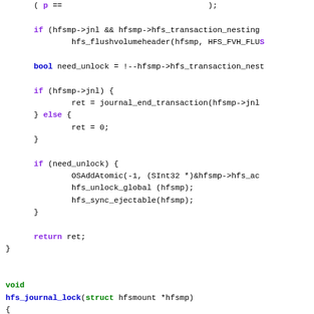[Figure (other): Source code snippet in C showing HFS journal transaction and lock functions with syntax highlighting]